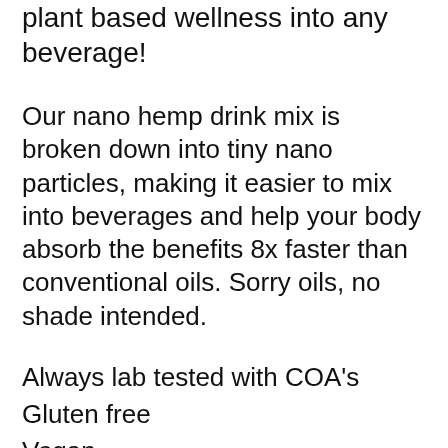plant based wellness into any beverage!
Our nano hemp drink mix is broken down into tiny nano particles, making it easier to mix into beverages and help your body absorb the benefits 8x faster than conventional oils. Sorry oils, no shade intended.
Always lab tested with COA's
Gluten free
Vegan
Non GMO